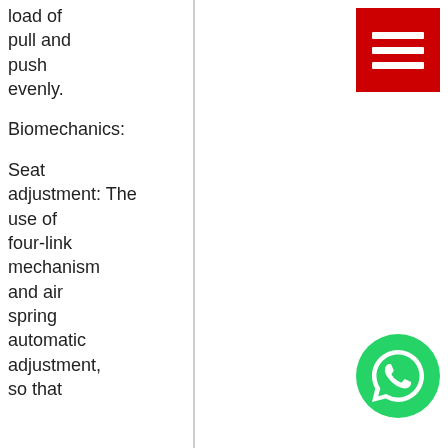load of pull and push evenly.
Biomechanics:
Seat adjustment: The use of four-link mechanism and air spring automatic adjustment, so that
[Figure (other): Red square button with three horizontal white lines (hamburger menu icon)]
[Figure (other): Green circle WhatsApp phone icon]